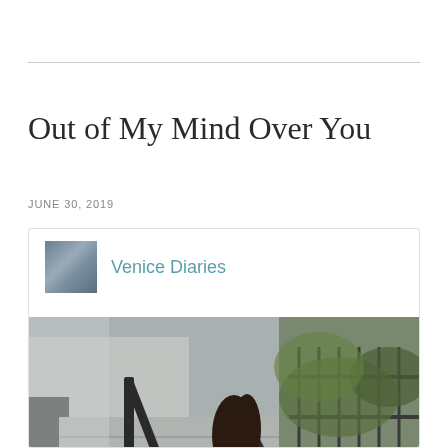Out of My Mind Over You
JUNE 30, 2019
[Figure (photo): Social media card from 'Venice Diaries' with a small avatar photo and a main photo showing a woman with dark hair walking down outdoor steps with a metal railing, concrete steps and metal fence in the background, overcast daylight.]